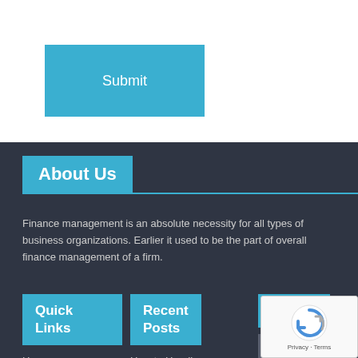[Figure (screenshot): A teal/blue Submit button in the upper white section of the page]
About Us
Finance management is an absolute necessity for all types of business organizations. Earlier it used to be the part of overall finance management of a firm.
Quick Links
Home
Recent Posts
How to Handle...
Gallery